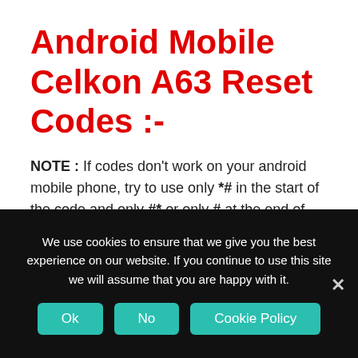Android Mobile Celkon A63 Reset Codes :-
NOTE : If codes don't work on your android mobile phone, try to use only *# in the start of the code and only #* or only # at the end of the Android secret code. For example *#7780#* or *#7780#.
We use cookies to ensure that we give you the best experience on our website. If you continue to use this site we will assume that you are happy with it.